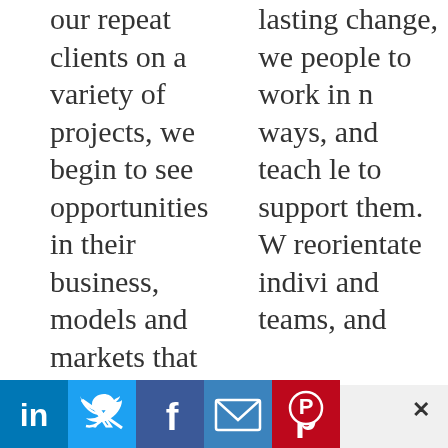our repeat clients on a variety of projects, we begin to see opportunities in their business, models and markets that offer truly
lasting change, we people to work in n ways, and teach le to support them. W reorientate indivi and teams, and
Manage Cookie Consent
We use cookies to optimize our website and our service.
Accept cookies
Deny
View preferences
[Figure (infographic): Social media sharing icons: LinkedIn (blue), Twitter (blue), Facebook (dark blue), Email (blue), Pinterest (red)]